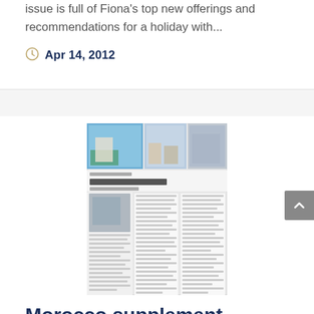issue is full of Fiona's top new offerings and recommendations for a holiday with...
Apr 14, 2012
[Figure (photo): Thumbnail image of a magazine spread titled 'Focus on Morocco' showing travel photos and article columns]
Morocco supplement